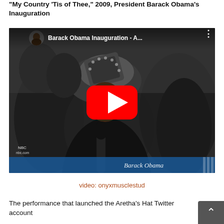"My Country 'Tis of Thee," 2009, President Barack Obama's Inauguration
[Figure (screenshot): YouTube video thumbnail showing a woman singing at Barack Obama's 2009 inauguration, wearing an ornate hat. Video title shows 'Barack Obama Inauguration - A...' with a red YouTube play button overlay. NBC branding and 'Barack Obama' text visible at bottom.]
video: onyxmusclestud
The performance that launched the Aretha's Hat Twitter account